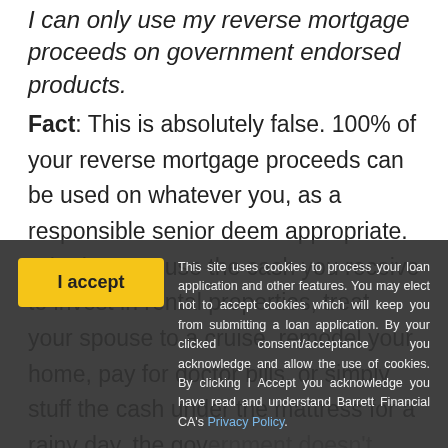I can only use my reverse mortgage proceeds on government endorsed products.
Fact: This is absolutely false. 100% of your reverse mortgage proceeds can be used on whatever you, as a responsible senior deem appropriate. Whether you use the cash you receive to invest in rental properties, treat your spouse to a cruise, remodel your home, pay for doctor bills, or simply stuff the cash under the mattress for a rainy day, the government doesn't care how you spend your money.
Myth #4
Reverse Mortgages are only for those in dire financial stress
This site uses cookies to process your loan application and other features. You may elect not to accept cookies which will keep you from submitting a loan application. By your clicked consent/acceptance you acknowledge and allow the use of cookies. By clicking I Accept you acknowledge you have read and understand Barrett Financial CA's Privacy Policy.